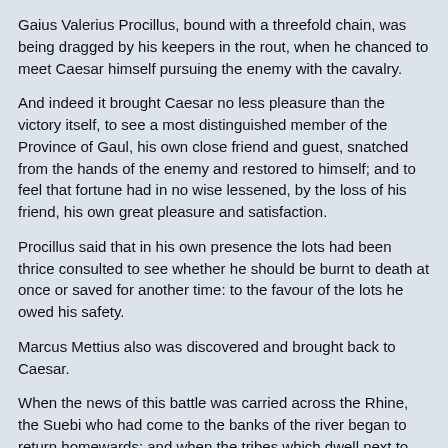Gaius Valerius Procillus, bound with a threefold chain, was being dragged by his keepers in the rout, when he chanced to meet Caesar himself pursuing the enemy with the cavalry.
And indeed it brought Caesar no less pleasure than the victory itself, to see a most distinguished member of the Province of Gaul, his own close friend and guest, snatched from the hands of the enemy and restored to himself; and to feel that fortune had in no wise lessened, by the loss of his friend, his own great pleasure and satisfaction.
Procillus said that in his own presence the lots had been thrice consulted to see whether he should be burnt to death at once or saved for another time: to the favour of the lots he owed his safety.
Marcus Mettius also was discovered and brought back to Caesar.
When the news of this battle was carried across the Rhine, the Suebi who had come to the banks of the river began to return homewards; and when the tribes which dwell next to the Rhine perceived their panic, they pursued and slew a great number of them.
Two capital campaigns were thus finished in a single summer, and Caesar therefore withdrew his army a little earlier than the season required into winter cantonments among the Sequani, leaving Labienus in command thereof, while he himself set off for Hither Gaul to hold the assizes.